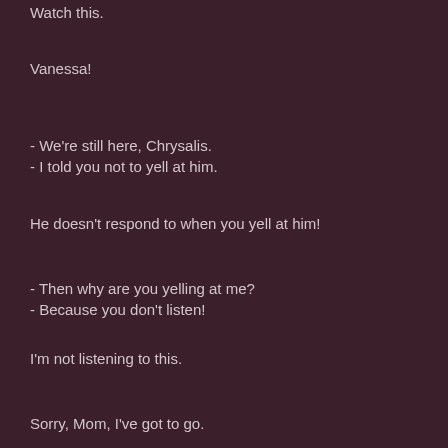Watch this.
Vanessa!
- We're still here, Chrysalis.
- I told you not to yell at him.
He doesn't respond to when you yell at him!
- Then why are you yelling at me?
- Because you don't listen!
I'm not listening to this.
Sorry, Mom, I've got to go.
- Where are you going?
- Nowhere I'm meeting a friend.
A girl? Is this why you can't decide?
Bye.